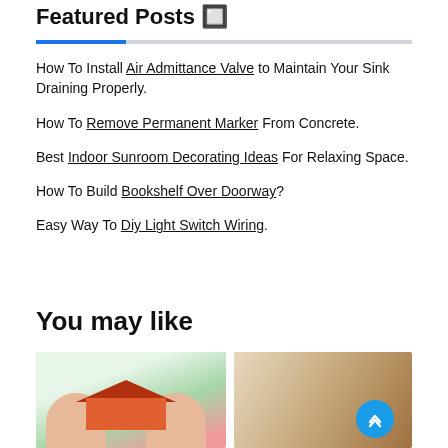Featured Posts 🔲
How To Install Air Admittance Valve to Maintain Your Sink Draining Properly.
How To Remove Permanent Marker From Concrete.
Best Indoor Sunroom Decorating Ideas For Relaxing Space.
How To Build Bookshelf Over Doorway?
Easy Way To Diy Light Switch Wiring.
You may like
[Figure (photo): Hands holding a small model house]
[Figure (photo): Indoor room interior, possibly a sunroom]